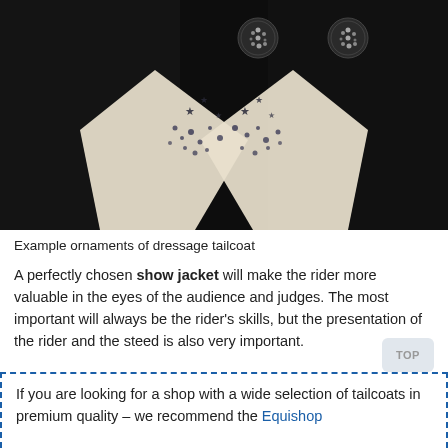[Figure (photo): Close-up photo of a black dressage tailcoat showing decorative rhinestone/crystal buttons and white collar pieces with star-shaped and dot rhinestone ornaments.]
Example ornaments of dressage tailcoat
A perfectly chosen show jacket will make the rider more valuable in the eyes of the audience and judges. The most important will always be the rider's skills, but the presentation of the rider and the steed is also very important.
If you are looking for a shop with a wide selection of tailcoats in premium quality – we recommend the Equishop